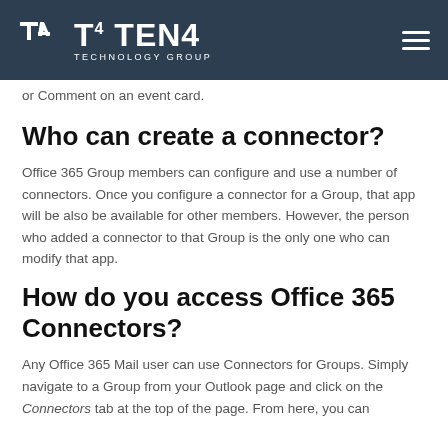TEN4 TECHNOLOGY GROUP
or Comment on an event card.
Who can create a connector?
Office 365 Group members can configure and use a number of connectors. Once you configure a connector for a Group, that app will be also be available for other members. However, the person who added a connector to that Group is the only one who can modify that app.
How do you access Office 365 Connectors?
Any Office 365 Mail user can use Connectors for Groups. Simply navigate to a Group from your Outlook page and click on the Connectors tab at the top of the page. From here, you can